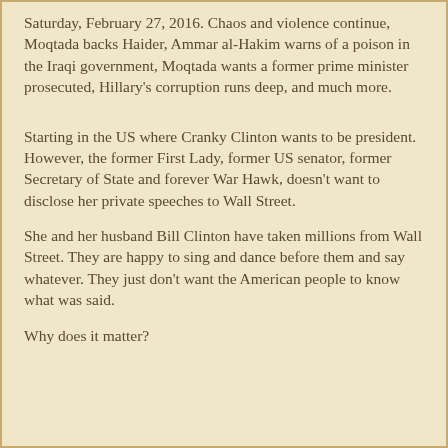Saturday, February 27, 2016.  Chaos and violence continue, Moqtada backs Haider, Ammar al-Hakim warns of a poison in the Iraqi government, Moqtada wants a former prime minister prosecuted, Hillary's corruption runs deep, and much more.
Starting in the US where Cranky Clinton wants to be president.  However, the former First Lady, former US senator, former Secretary of State and forever War Hawk, doesn't want to disclose her private speeches to Wall Street.
She and her husband Bill Clinton have taken millions from Wall Street.  They are happy to sing and dance before them and say whatever.  They just don't want the American people to know what was said.
Why does it matter?